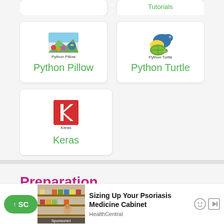[Figure (logo): Python Pillow library card with Pillow logo (colorful image processing icon) and label 'Python Pillow']
[Figure (logo): Python Turtle library card with Turtle logo (blue/yellow snake with turtle) and label 'Python Turtle']
[Figure (logo): Keras library card with Keras logo (red square with white K) and label 'Keras']
Preparation
[Figure (infographic): Advertisement: 'Sizing Up Your Psoriasis Medicine Cabinet' by HealthCentral, showing a sponsored image of a person in a store, with scroll-up button and ad controls]